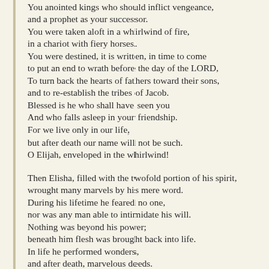You anointed kings who should inflict vengeance,
and a prophet as your successor.
You were taken aloft in a whirlwind of fire,
in a chariot with fiery horses.
You were destined, it is written, in time to come
to put an end to wrath before the day of the LORD,
To turn back the hearts of fathers toward their sons,
and to re-establish the tribes of Jacob.
Blessed is he who shall have seen you
And who falls asleep in your friendship.
For we live only in our life,
but after death our name will not be such.
O Elijah, enveloped in the whirlwind!
Then Elisha, filled with the twofold portion of his spirit,
wrought many marvels by his mere word.
During his lifetime he feared no one,
nor was any man able to intimidate his will.
Nothing was beyond his power;
beneath him flesh was brought back into life.
In life he performed wonders,
and after death, marvelous deeds.